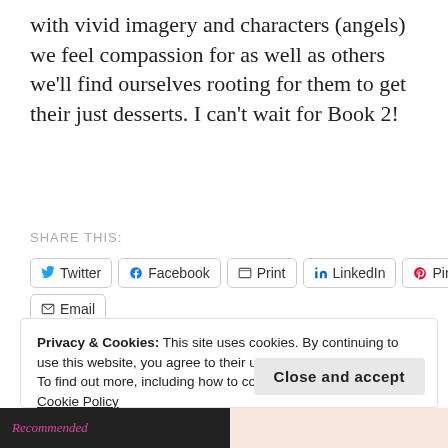with vivid imagery and characters (angels) we feel compassion for as well as others we'll find ourselves rooting for them to get their just desserts. I can't wait for Book 2!
SHARE THIS:
Twitter  Facebook  Print  LinkedIn  Pinterest  Email
Like
Be the first to like this.
Privacy & Cookies: This site uses cookies. By continuing to use this website, you agree to their use. To find out more, including how to control cookies, see here: Cookie Policy
Close and accept